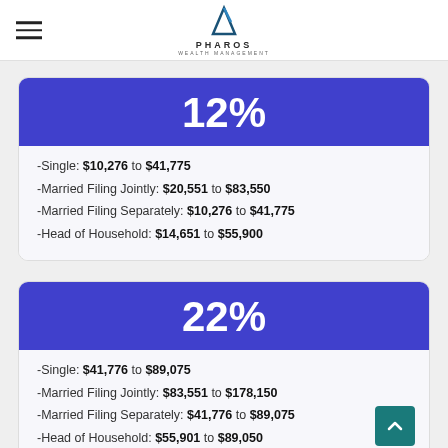PHAROS WEALTH MANAGEMENT
12%
-Single: $10,276 to $41,775
-Married Filing Jointly: $20,551 to $83,550
-Married Filing Separately: $10,276 to $41,775
-Head of Household: $14,651 to $55,900
22%
-Single: $41,776 to $89,075
-Married Filing Jointly: $83,551 to $178,150
-Married Filing Separately: $41,776 to $89,075
-Head of Household: $55,901 to $89,050